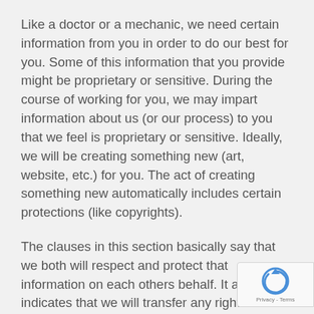Like a doctor or a mechanic, we need certain information from you in order to do our best for you. Some of this information that you provide might be proprietary or sensitive. During the course of working for you, we may impart information about us (or our process) to you that we feel is proprietary or sensitive. Ideally, we will be creating something new (art, website, etc.) for you. The act of creating something new automatically includes certain protections (like copyrights).
The clauses in this section basically say that we both will respect and protect that information on each others behalf. It also indicates that we will transfer any rights of the new creation provided you pay us “when all the dust clears”.
Another clause in here also indicates that we will not hold you liable for any legal costs, etc. if anyone/thing is w... injured or damaged during the course of doing work fo... You, in turn, will do the same. The latter two generally don’t